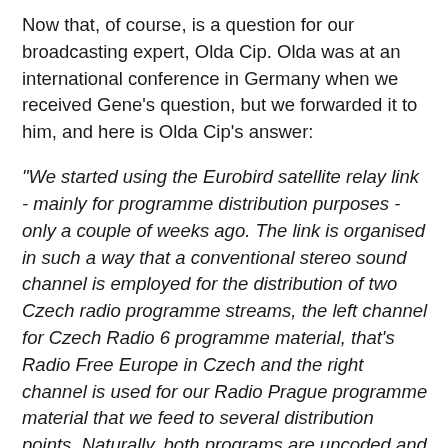Now that, of course, is a question for our broadcasting expert, Olda Cip. Olda was at an international conference in Germany when we received Gene's question, but we forwarded it to him, and here is Olda Cip's answer:
"We started using the Eurobird satellite relay link - mainly for programme distribution purposes - only a couple of weeks ago. The link is organised in such a way that a conventional stereo sound channel is employed for the distribution of two Czech radio programme streams, the left channel for Czech Radio 6 programme material, that's Radio Free Europe in Czech and the right channel is used for our Radio Prague programme material that we feed to several distribution points. Naturally, both programs are uncoded and you can listen to each one of them separately only if you have a receiver on which you can separate the left and right channels. These transmissions are, as I've said, mainly for the distribution